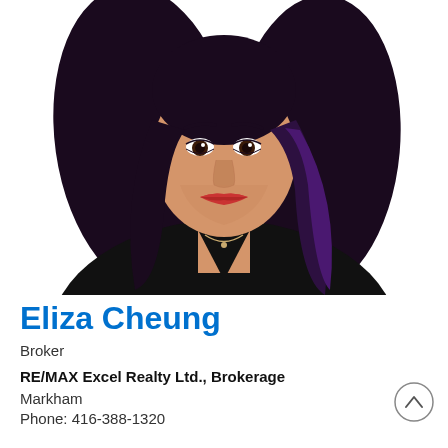[Figure (photo): Professional headshot of Eliza Cheung, a woman with dark purple-black hair, red lipstick, wearing a black blazer, posed against a white background.]
Eliza Cheung
Broker
RE/MAX Excel Realty Ltd., Brokerage
Markham
Phone: 416-388-1320